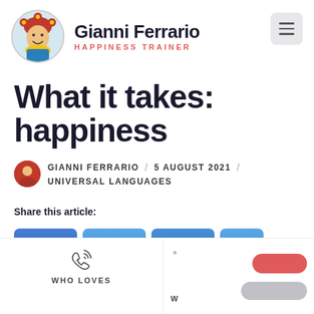[Figure (logo): Gianni Ferrario logo: circular photo of man in jester costume with name and HAPPINESS TRAINER subtitle, plus hamburger menu button]
What it takes: happiness
GIANNI FERRARIO / 5 AUGUST 2021 / UNIVERSAL LANGUAGES
Share this article:
[Figure (screenshot): Social share buttons: Facebook, Twitter, LinkedIn, Telegram]
[Figure (infographic): Bottom overlay with WHO LOVES section and W text, phone icon, red pill button, gray pill button]